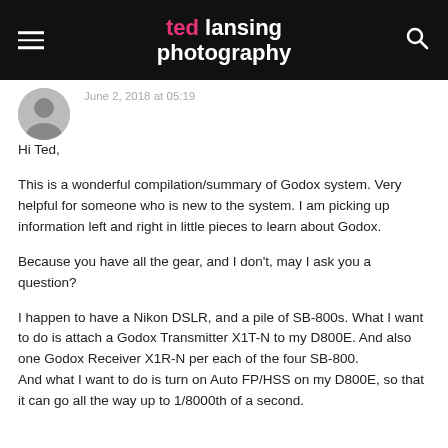ted lansing photography
June 2, 2018 at 05:19
Hi Ted,

This is a wonderful compilation/summary of Godox system. Very helpful for someone who is new to the system. I am picking up information left and right in little pieces to learn about Godox.

Because you have all the gear, and I don't, may I ask you a question?

I happen to have a Nikon DSLR, and a pile of SB-800s. What I want to do is attach a Godox Transmitter X1T-N to my D800E. And also one Godox Receiver X1R-N per each of the four SB-800.
And what I want to do is turn on Auto FP/HSS on my D800E, so that it can go all the way up to 1/8000th of a second.